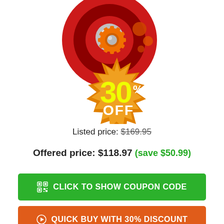[Figure (illustration): Software product logo: red shield/target background with orange gear and smaller circles, overlaid with a golden starburst sale badge showing '30% OFF' in large yellow and white text]
Listed price: $169.95
Offered price: $118.97 (save $50.99)
CLICK TO SHOW COUPON CODE
QUICK BUY WITH 30% DISCOUNT